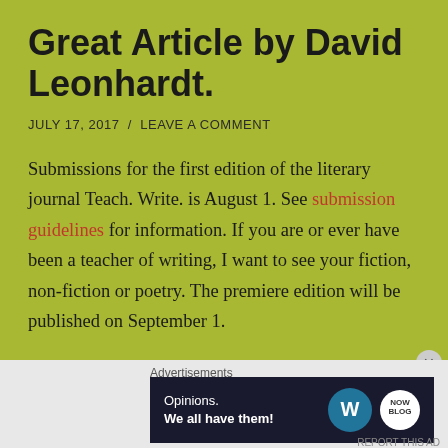Great Article by David Leonhardt.
JULY 17, 2017  /  LEAVE A COMMENT
Submissions for the first edition of the literary journal Teach. Write. is August 1. See submission guidelines for information. If you are or ever have been a teacher of writing, I want to see your fiction, non-fiction or poetry. The premiere edition will be published on September 1.
Those of you who follow my blog probably have more than an inkling about how I feel about the current emphasis on vocational education at the expense of a
[Figure (other): WordPress advertisement banner reading 'Opinions. We all have them!' with WordPress and YikYak logos on dark background]